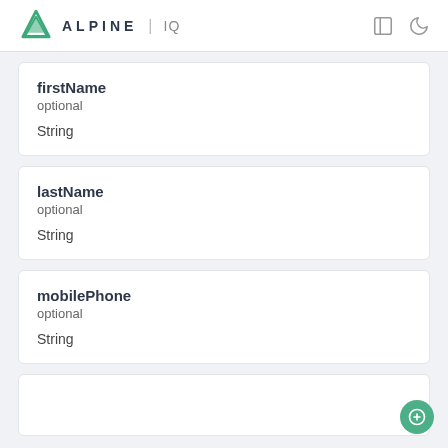ALPINE IQ
firstName
optional
String
lastName
optional
String
mobilePhone
optional
String